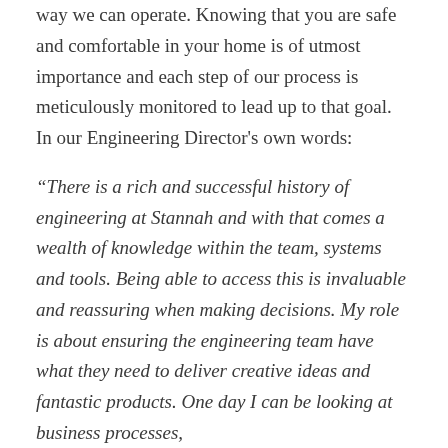way we can operate. Knowing that you are safe and comfortable in your home is of utmost importance and each step of our process is meticulously monitored to lead up to that goal. In our Engineering Director's own words:
“There is a rich and successful history of engineering at Stannah and with that comes a wealth of knowledge within the team, systems and tools. Being able to access this is invaluable and reassuring when making decisions. My role is about ensuring the engineering team have what they need to deliver creative ideas and fantastic products. One day I can be looking at business processes,